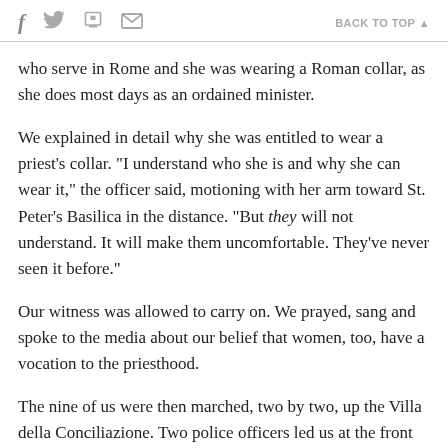f  [twitter]  [print]  [email]   BACK TO TOP ▲
who serve in Rome and she was wearing a Roman collar, as she does most days as an ordained minister.
We explained in detail why she was entitled to wear a priest's collar. "I understand who she is and why she can wear it," the officer said, motioning with her arm toward St. Peter's Basilica in the distance. "But they will not understand. It will make them uncomfortable. They've never seen it before."
Our witness was allowed to carry on. We prayed, sang and spoke to the media about our belief that women, too, have a vocation to the priesthood.
The nine of us were then marched, two by two, up the Villa della Conciliazione. Two police officers led us at the front of our line and two held up the rear. Two police cars, one marked and one unmarked, tailed us